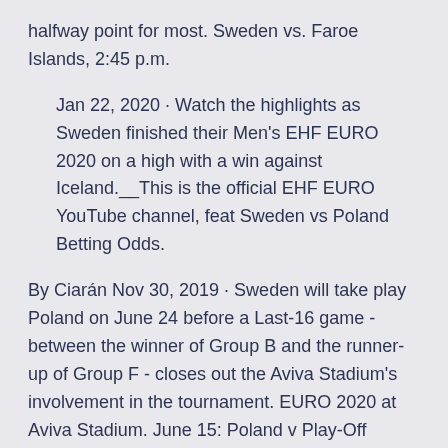halfway point for most. Sweden vs. Faroe Islands, 2:45 p.m.
Jan 22, 2020 · Watch the highlights as Sweden finished their Men's EHF EURO 2020 on a high with a win against Iceland.__This is the official EHF EURO YouTube channel, feat Sweden vs Poland Betting Odds.
By Ciarán Nov 30, 2019 · Sweden will take play Poland on June 24 before a Last-16 game - between the winner of Group B and the runner-up of Group F - closes out the Aviva Stadium's involvement in the tournament. EURO 2020 at Aviva Stadium. June 15: Poland v Play-Off Winner Path B. June 19: Sweden v Play-Off Winner Path B. June 24: Sweden v Poland. Your Euro 2020: Sweden vs Poland tickets will be delivered by Royal Mail and FedEx International. With